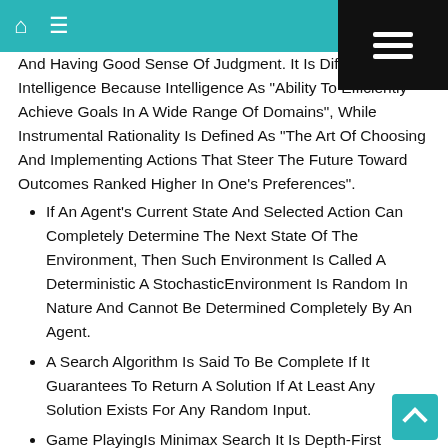Home Menu
And Having Good Sense Of Judgment. It Is Differ From Intelligence Because Intelligence As "Ability To Efficiently Achieve Goals In A Wide Range Of Domains", While Instrumental Rationality Is Defined As "The Art Of Choosing And Implementing Actions That Steer The Future Toward Outcomes Ranked Higher In One's Preferences".
If An Agent's Current State And Selected Action Can Completely Determine The Next State Of The Environment, Then Such Environment Is Called A Deterministic A StochasticEnvironment Is Random In Nature And Cannot Be Determined Completely By An Agent.
A Search Algorithm Is Said To Be Complete If It Guarantees To Return A Solution If At Least Any Solution Exists For Any Random Input.
Game PlayingIs Minimax Search It Is Depth-First Depth-Limited Search Procedure.Where As A Heuristic Is A Technique To Solve A Problem Faster Than Classic Methods, Or To Find An Approximate Solution When Classic Methods Cannot. This Is A